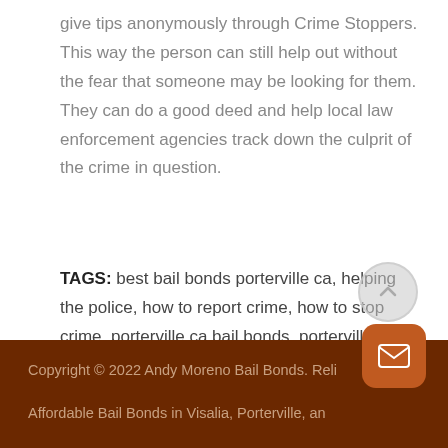give tips anonymously through Crime Stoppers. This way the person can still help out without the fear that someone may be looking for them. They can do a good deed and help local law enforcement agencies track down the culprit of the crime in question.
TAGS: best bail bonds porterville ca, helping the police, how to report crime, how to stop crime, porterville ca bail bonds, porterville ca bail bondsman, reporting crime, what is crime stoppers
Copyright © 2022 Andy Moreno Bail Bonds. Reli... Affordable Bail Bonds in Visalia, Porterville, an...